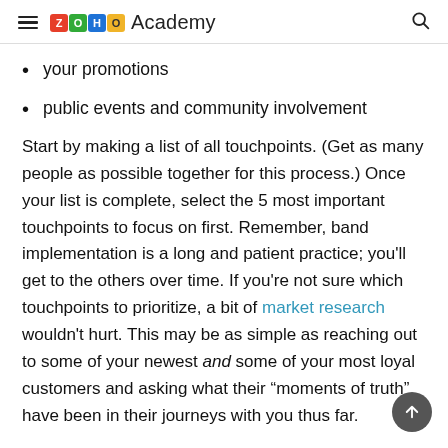Zoho Academy
your promotions
public events and community involvement
Start by making a list of all touchpoints. (Get as many people as possible together for this process.) Once your list is complete, select the 5 most important touchpoints to focus on first. Remember, band implementation is a long and patient practice; you'll get to the others over time. If you're not sure which touchpoints to prioritize, a bit of market research wouldn't hurt. This may be as simple as reaching out to some of your newest and some of your most loyal customers and asking what their “moments of truth” have been in their journeys with you thus far.